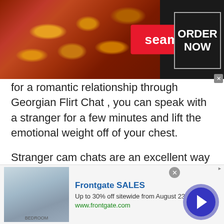[Figure (screenshot): Seamless food delivery advertisement banner with pizza image on dark background, red 'seamless' pill button, and 'ORDER NOW' box in white text on dark background with gray border. X close button at bottom right.]
for a romantic relationship through Georgian Flirt Chat , you can speak with a stranger for a few minutes and lift the emotional weight off of your chest.
Stranger cam chats are an excellent way of reaching out for emotional support and coping with your emotions in these troublesome times. Log onto Talkwithstranger today to meet a stranger and reduce your emotional burden.
The Chatrandom Feature For
[Figure (screenshot): Frontgate SALES advertisement at bottom. Shows bedroom furniture image on left, text 'Frontgate SALES', 'Up to 30% off sitewide from August 23-25', 'www.frontgate.com'. Blue circular arrow button on right. AdChoices icon top right.]